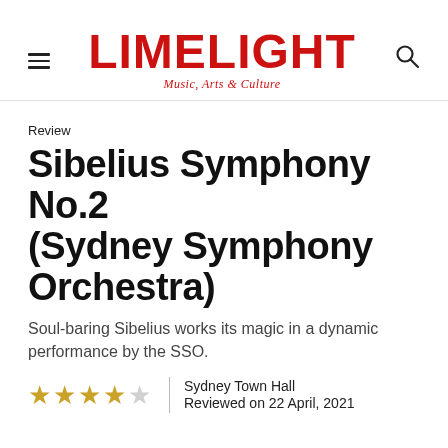LIMELIGHT Music, Arts & Culture
Review
Sibelius Symphony No.2 (Sydney Symphony Orchestra)
Soul-baring Sibelius works its magic in a dynamic performance by the SSO.
★★★★☆  Sydney Town Hall  Reviewed on 22 April, 2021